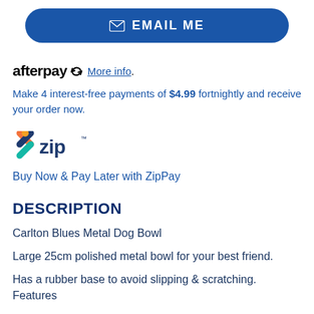[Figure (other): Blue rounded button with envelope icon and text EMAIL ME]
[Figure (logo): Afterpay logo with recycling arrow icon, followed by underlined More info link]
Make 4 interest-free payments of $4.99 fortnightly and receive your order now.
[Figure (logo): Zip Pay logo with colorful X icon and word 'zip']
Buy Now & Pay Later with ZipPay
DESCRIPTION
Carlton Blues Metal Dog Bowl
Large 25cm polished metal bowl for your best friend.
Has a rubber base to avoid slipping & scratching. Features a club logo on the front.